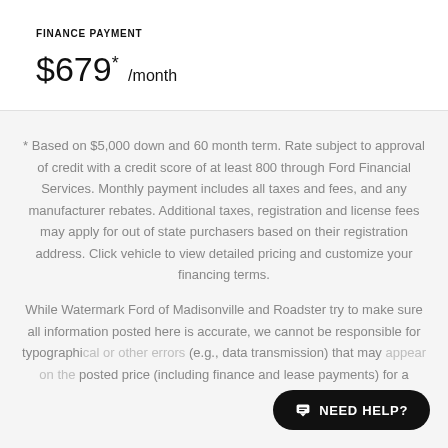FINANCE PAYMENT
$679* /month
* Based on $5,000 down and 60 month term. Rate subject to approval of credit with a credit score of at least 800 through Ford Financial Services. Monthly payment includes all taxes and fees, and any manufacturer rebates. Additional taxes, registration and license fees may apply for out of state purchasers based on their registration address. Click vehicle to view detailed pricing and customize your financing terms.
While Watermark Ford of Madisonville and Roadster try to make sure all information posted here is accurate, we cannot be responsible for typographical or other errors (e.g., data transmission) that may appear on the posted price (including finance and lease payments) for a